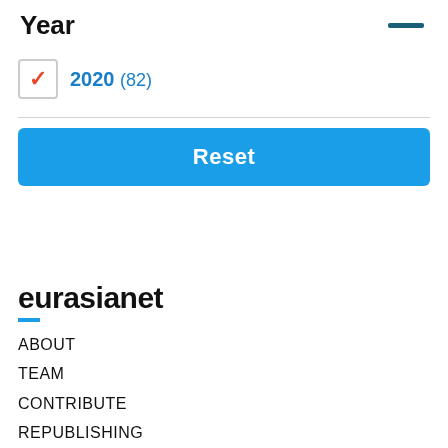Year
2020 (82)
Reset
[Figure (logo): eurasianet logo with blue underline]
ABOUT
TEAM
CONTRIBUTE
REPUBLISHING